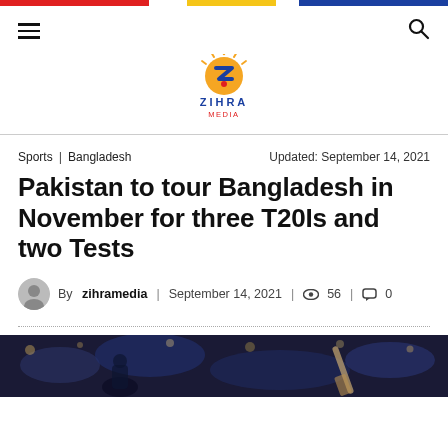Zihra Media — navigation header with hamburger menu and search icon
[Figure (logo): Zihra Media logo: orange/blue stylized Z with sun rays, text 'ZIHRA' and 'MEDIA' below]
Sports | Bangladesh   Updated: September 14, 2021
Pakistan to tour Bangladesh in November for three T20Is and two Tests
By zihramedia | September 14, 2021 | 56 views | 0 comments
[Figure (photo): Cricket match photo, blurred/dark stadium background with cricket bat visible]